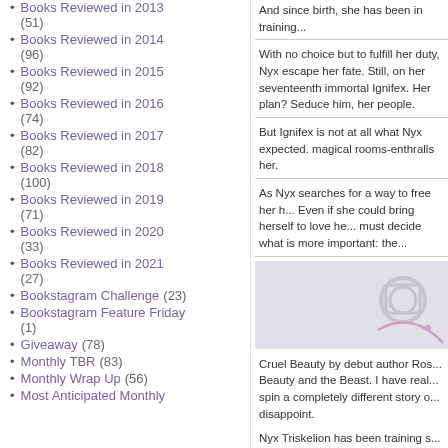Books Reviewed in 2013 (51)
Books Reviewed in 2014 (96)
Books Reviewed in 2015 (92)
Books Reviewed in 2016 (74)
Books Reviewed in 2017 (82)
Books Reviewed in 2018 (100)
Books Reviewed in 2019 (71)
Books Reviewed in 2020 (33)
Books Reviewed in 2021 (27)
Bookstagram Challenge (23)
Bookstagram Feature Friday (1)
Giveaway (78)
Monthly TBR (83)
Monthly Wrap Up (56)
Most Anticipated Monthly
And since birth, she has been in training...
With no choice but to fulfill her duty, Nyx escape her fate. Still, on her seventeenth immortal Ignifex. Her plan? Seduce him, her people.
But Ignifex is not at all what Nyx expected. magical rooms-enthralls her.
As Nyx searches for a way to free her h... Even if she could bring herself to love he... must decide what is more important: the...
[Figure (photo): Placeholder image with camera icon and decorative swirl]
Cruel Beauty by debut author Ros... Beauty and the Beast. I have real... spin a completely different story o... disappoint.
Nyx Triskelion has been training s... mother's death and to save her pe... that has been laid out for her futu...